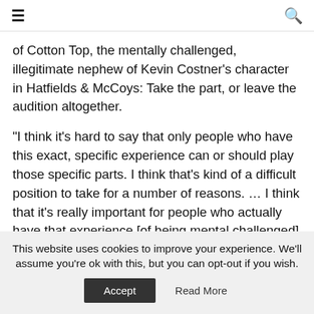≡  🔍
of Cotton Top, the mentally challenged, illegitimate nephew of Kevin Costner's character in Hatfields & McCoys: Take the part, or leave the audition altogether.

"I think it's hard to say that only people who have this exact, specific experience can or should play those specific parts. I think that's kind of a difficult position to take for a number of reasons. … I think that it's really important for people who actually have that experience [of being mental challenged] to be able to audition for it and things like that. I think that's a
This website uses cookies to improve your experience. We'll assume you're ok with this, but you can opt-out if you wish.
Accept   Read More